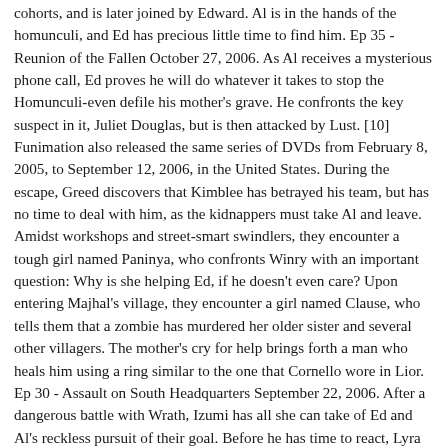cohorts, and is later joined by Edward. Al is in the hands of the homunculi, and Ed has precious little time to find him. Ep 35 - Reunion of the Fallen October 27, 2006. As Al receives a mysterious phone call, Ed proves he will do whatever it takes to stop the Homunculi-even defile his mother's grave. He confronts the key suspect in it, Juliet Douglas, but is then attacked by Lust. [10] Funimation also released the same series of DVDs from February 8, 2005, to September 12, 2006, in the United States. During the escape, Greed discovers that Kimblee has betrayed his team, but has no time to deal with him, as the kidnappers must take Al and leave. Amidst workshops and street-smart swindlers, they encounter a tough girl named Paninya, who confronts Winry with an important question: Why is she helping Ed, if he doesn't even care? Upon entering Majhal's village, they encounter a girl named Clause, who tells them that a zombie has murdered her older sister and several other villagers. The mother's cry for help brings forth a man who heals him using a ring similar to the one that Cornello wore in Lior. Ep 30 - Assault on South Headquarters September 22, 2006. After a dangerous battle with Wrath, Izumi has all she can take of Ed and Al's reckless pursuit of their goal. Before he has time to react, Lyra uses alchemy to forcibly eject the Philosopher's Stone fragments that Greed has consumed in his life. Marcoh, forced to use his research, caused huge casualties on the Ishbalan side. They failed, unleashing an alchemic reaction that ripped their bodies apart. His brother then went on to create the Philosopher's Stone, and it is revealed where Scar's tattooed arm comes from, and the X-shaped scar on